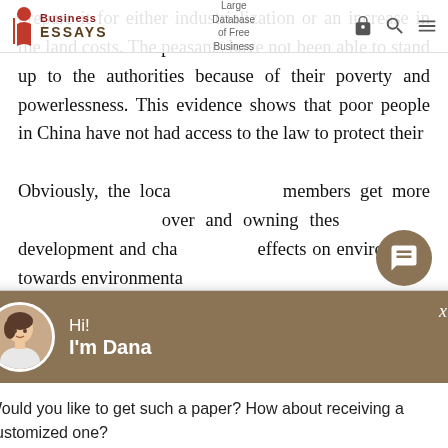Large Database of Free Business
prepare it for either industrialization or an increase in the land costs. The peasants have not been able to stand up to the authorities because of their poverty and powerlessness. This evidence shows that poor people in China have not had access to the law to protect their
Obviously, the loca members get more over and owning thes development and cha effects on environm towards environmenta
[Figure (screenshot): Chat popup with avatar of Dana, greeting 'Hi! I'm Dana', message 'Would you like to get such a paper? How about receiving a customized one?', with Check it out link and chat bubble button]
Haven't found the Essay You Want?
GET YOUR CUSTOM ESSAY SAMPLE
For Only $13.90/page